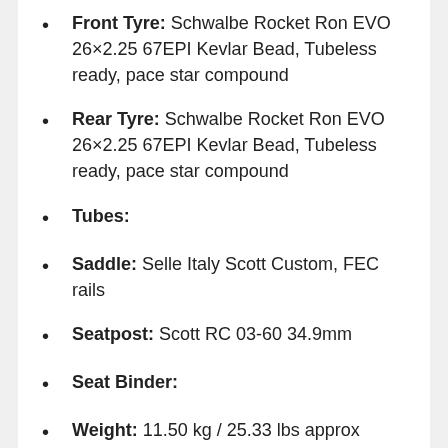Front Tyre: Schwalbe Rocket Ron EVO 26×2.25 67EPI Kevlar Bead, Tubeless ready, pace star compound
Rear Tyre: Schwalbe Rocket Ron EVO 26×2.25 67EPI Kevlar Bead, Tubeless ready, pace star compound
Tubes:
Saddle: Selle Italy Scott Custom, FEC rails
Seatpost: Scott RC 03-60 34.9mm
Seat Binder:
Weight: 11.50 kg / 25.33 lbs approx
Colour:
Extra Features: